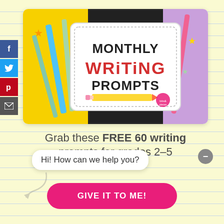[Figure (illustration): Monthly Writing Prompts product cover shown on a tablet/iPad, with colorful school supplies (pencils, composition notebook) in the background. Text reads 'MONTHLY WRITING PROMPTS' with 'WRITING' in red and a yellow pencil graphic.]
Grab these FREE 60 writing prompts for grades 2-5
Hi! How can we help you?
GIVE IT TO ME!